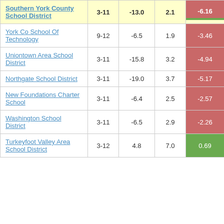| School/District | Grades | Col3 | Col4 | Score |
| --- | --- | --- | --- | --- |
| Southern York County School District | 3-11 | -13.0 | 2.1 | -6.16 |
| York Co School Of Technology | 9-12 | -6.5 | 1.9 | -3.46 |
| Uniontown Area School District | 3-11 | -15.8 | 3.2 | -4.94 |
| Northgate School District | 3-11 | -19.0 | 3.7 | -5.17 |
| New Foundations Charter School | 3-11 | -6.4 | 2.5 | -2.57 |
| Washington School District | 3-11 | -6.5 | 2.9 | -2.26 |
| Turkeyfoot Valley Area School District | 3-12 | 4.8 | 7.0 | 0.69 |